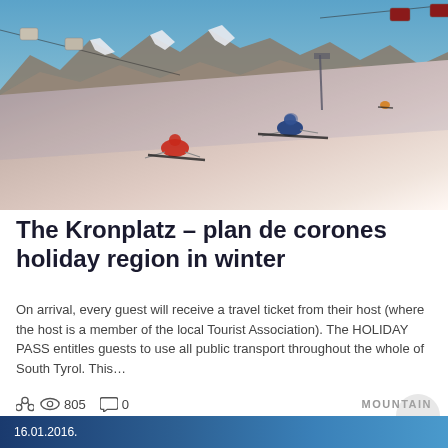[Figure (photo): Two skiers racing down a snow slope with mountain peaks and cable car gondolas visible in the background at dusk/dawn]
The Kronplatz – plan de corones holiday region in winter
On arrival, every guest will receive a travel ticket from their host (where the host is a member of the local Tourist Association). The HOLIDAY PASS entitles guests to use all public transport throughout the whole of South Tyrol. This…
805  0
16.01.2016.